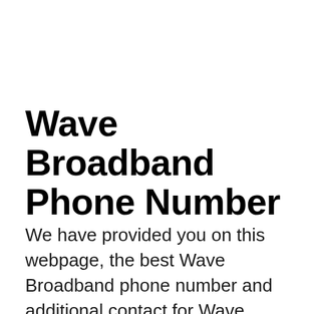Wave Broadband Phone Number
We have provided you on this webpage, the best Wave Broadband phone number and additional contact for Wave Broadband. If you wish to send mail to Wave Broadband the full address is 4519 SE Mile Hill Dr, Port Orchard, Washington, 98366,